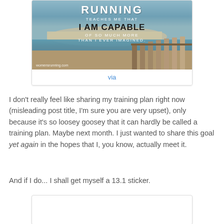[Figure (illustration): Motivational running quote image from womensrunning.com showing coastal scene with pier/breakwater, text reads: RUNNING TEACHES ME THAT I AM CAPABLE OF SO MUCH MORE THAN I EVER IMAGINED.]
via
I don't really feel like sharing my training plan right now (misleading post title, I'm sure you are very upset), only because it's so loosey goosey that it can hardly be called a training plan. Maybe next month. I just wanted to share this goal yet again in the hopes that I, you know, actually meet it.
And if I do... I shall get myself a 13.1 sticker.
[Figure (photo): Second embedded image card, partially visible at bottom of page]